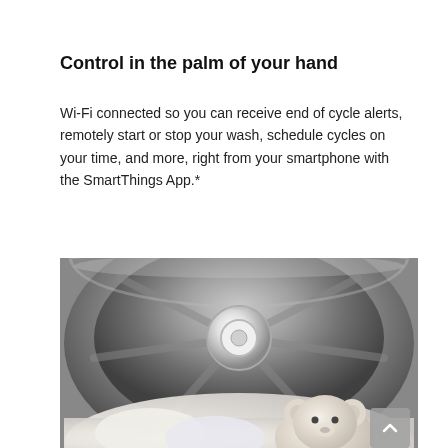Control in the palm of your hand
Wi-Fi connected so you can receive end of cycle alerts, remotely start or stop your wash, schedule cycles on your time, and more, right from your smartphone with the SmartThings App.*
[Figure (photo): Inside view of a washing machine drum with laundry including a white stuffed animal/teddy bear inside, stainless steel drum interior visible from top-down perspective]